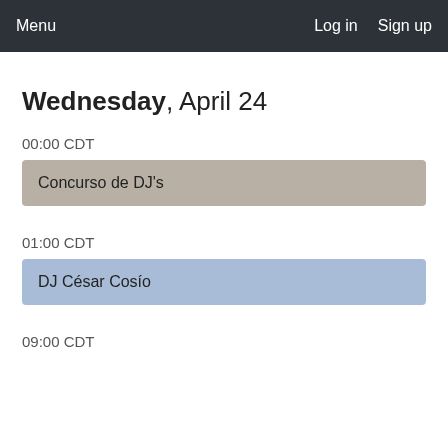Menu   Log in   Sign up
Wednesday, April 24
00:00 CDT
Concurso de DJ's
01:00 CDT
DJ César Cosío
09:00 CDT